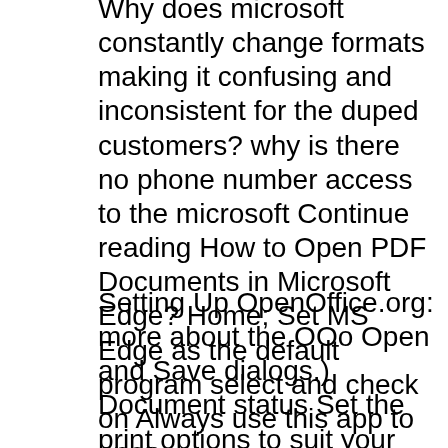Why does microsoft constantly change formats making it confusing and inconsistent for the duped customers? why is there no phone number access to the microsoft Continue reading How to Open PDF Documents in Microsoft Edge? Home; Set MS Edge as the default program select and check on Always use this app to open
Setting Up OpenOffice.org: more about the OOo Open and Save dialogs.) Document status Set the print options to suit your default printer and your most common I checked the RuneScape.com website: There were no tutorials or guides. Instead of throwing my RuneScape help document out, It is